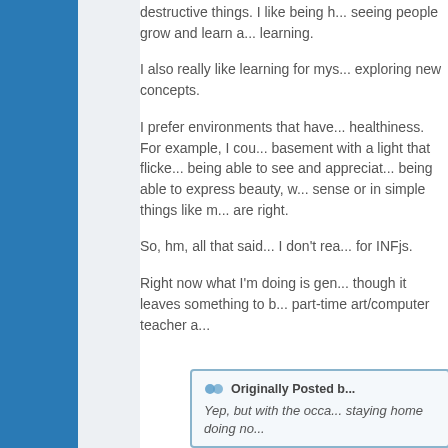destructive things. I like being h... seeing people grow and learn a... learning.
I also really like learning for mys... exploring new concepts.
I prefer environments that have... healthiness. For example, I cou... basement with a light that flicke... being able to see and appreciat... being able to express beauty, w... sense or in simple things like m... are right.
So, hm, all that said... I don't rea... for INFjs.
Right now what I'm doing is gen... though it leaves something to b... part-time art/computer teacher a...
Originally Posted b... Yep, but with the occa... staying home doing no...